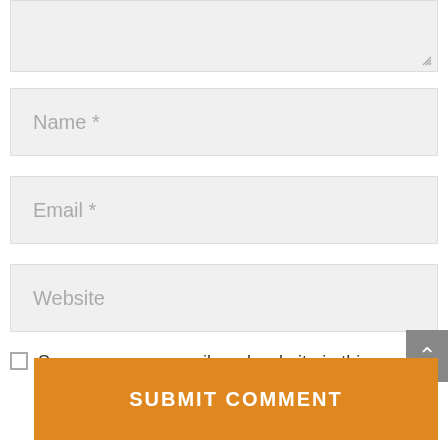[Figure (screenshot): Partial textarea input box at the top of the page, showing a grey background text area with a resize handle in the bottom-right corner.]
Name *
Email *
Website
Save my name, email, and website in this browser for the next time I comment.
SUBMIT COMMENT